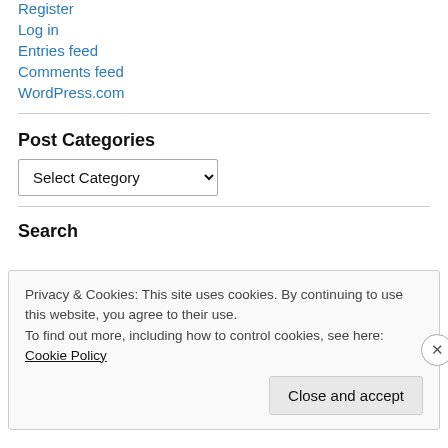Register
Log in
Entries feed
Comments feed
WordPress.com
Post Categories
Select Category (dropdown)
Search
Privacy & Cookies: This site uses cookies. By continuing to use this website, you agree to their use. To find out more, including how to control cookies, see here: Cookie Policy
Close and accept